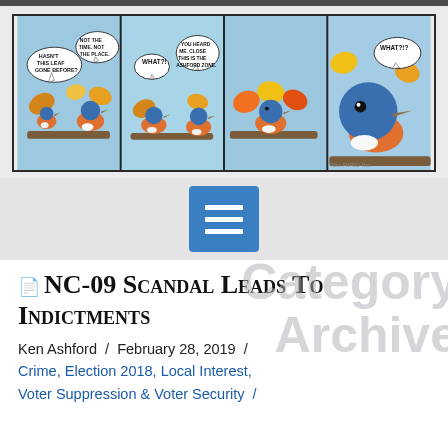[Figure (illustration): A four-panel comic strip featuring bluebirds sitting on a branch with autumn leaves. Panel 1: Two birds, speech bubbles reading 'HASN'T THIS LEAF GONE BEFORE?' and 'NOT THE TIME. NOT THE PLACE.' Panel 2: Bird with speech bubble 'WHAT?!' and another saying 'YOU HEARD ME. CLOSE THIS IS THE ASHFORD ZONE.' Panel 3: Bird on branch with bright fall leaves. Panel 4: Close-up of bird with 'WHAT?!?' speech bubble.]
[Figure (screenshot): A blue square menu/hamburger icon button with three horizontal white lines.]
NC-09 Scandal Leads To Indictments
Ken Ashford / February 28, 2019 / Crime, Election 2018, Local Interest, Voter Suppression & Voter Security /